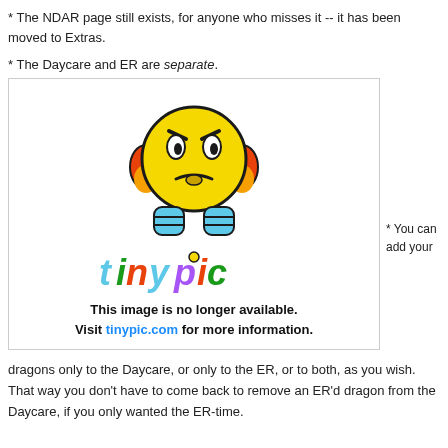* The NDAR page still exists, for anyone who misses it -- it has been moved to Extras.
* The Daycare and ER are separate.
[Figure (illustration): TinyPic placeholder image showing an angry/frustrated yellow emoji face with headphones, the TinyPic logo below it, and the message: This image is no longer available. Visit tinypic.com for more information.]
* You can add your
dragons only to the Daycare, or only to the ER, or to both, as you wish. That way you don't have to come back to remove an ER'd dragon from the Daycare, if you only wanted the ER-time.